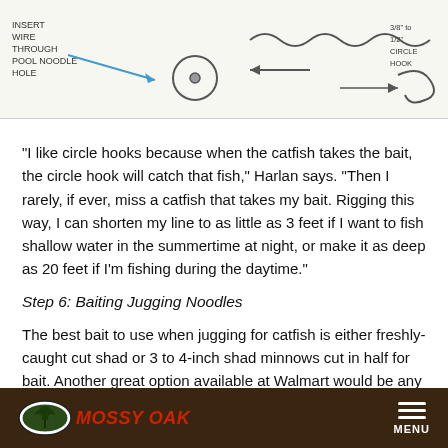[Figure (illustration): Hand-drawn diagram showing fishing rig assembly with annotations including 'insert wire through pool noodle hole', arrows pointing to components, a circle/hook diagram, wavy line representing line, and notes about hook size.]
“I like circle hooks because when the catfish takes the bait, the circle hook will catch that fish,” Harlan says. “Then I rarely, if ever, miss a catfish that takes my bait. Rigging this way, I can shorten my line to as little as 3 feet if I want to fish shallow water in the summertime at night, or make it as deep as 20 feet if I’m fishing during the daytime.”
Step 6: Baiting Jugging Noodles
The best bait to use when jugging for catfish is either freshly-caught cut shad or 3 to 4-inch shad minnows cut in half for bait. Another great option available at Walmart would be any type of catfish stink bait dough bait.
MOSSY OAK  MENU